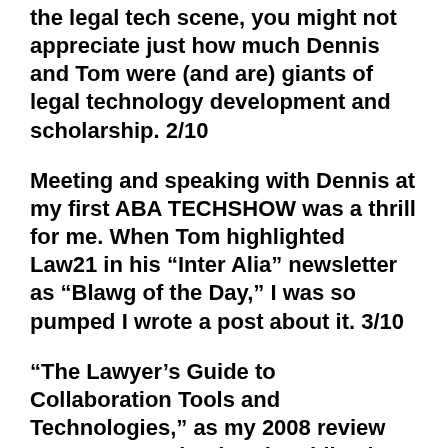the legal tech scene, you might not appreciate just how much Dennis and Tom were (and are) giants of legal technology development and scholarship. 2/10
Meeting and speaking with Dennis at my first ABA TECHSHOW was a thrill for me. When Tom highlighted Law21 in his “Inter Alia” newsletter as “Blawg of the Day,” I was so pumped I wrote a post about it. 3/10
“The Lawyer’s Guide to Collaboration Tools and Technologies,” as my 2008 review attests, was a landmark publication — but not just because of the extraordinarily detailed insight and practical advice it contained. 4/10